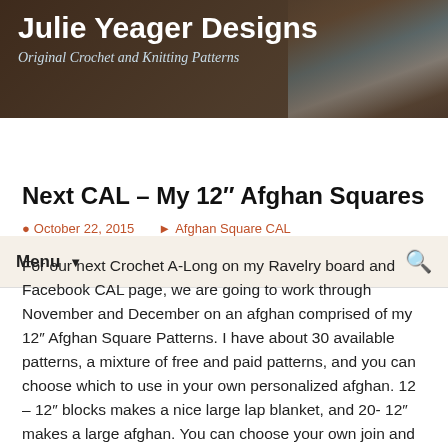Julie Yeager Designs
Original Crochet and Knitting Patterns
Next CAL – My 12″ Afghan Squares
October 22, 2015   Afghan Square CAL
For our next Crochet A-Long on my Ravelry board and Facebook CAL page, we are going to work through November and December on an afghan comprised of my 12" Afghan Square Patterns.  I have about 30 available patterns, a mixture of free and paid patterns, and you can choose which to use in your own personalized afghan.  12 – 12" blocks makes a nice large lap blanket, and 20- 12" makes a large afghan.  You can choose your own join and